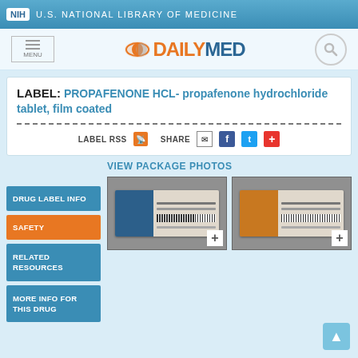NIH U.S. NATIONAL LIBRARY OF MEDICINE
[Figure (logo): DailyMed logo with pill icon, orange and blue text]
LABEL: PROPAFENONE HCL- propafenone hydrochloride tablet, film coated
LABEL RSS  SHARE
VIEW PACKAGE PHOTOS
[Figure (photo): Package photo thumbnail 1 - Propafenone HCl tablet box, blue label]
[Figure (photo): Package photo thumbnail 2 - Propafenone HCl tablet box, orange/yellow label]
DRUG LABEL INFO
SAFETY
RELATED RESOURCES
MORE INFO FOR THIS DRUG